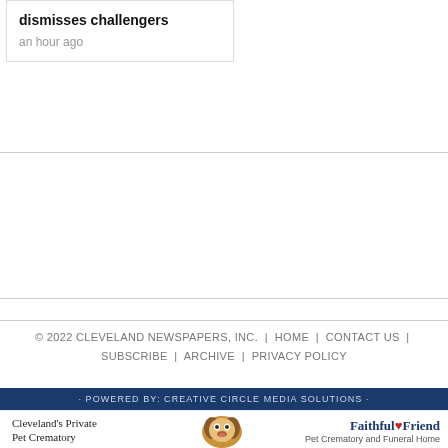dismisses challengers
an hour ago
© 2022 CLEVELAND NEWSPAPERS, INC. | HOME | CONTACT US | SUBSCRIBE | ARCHIVE | PRIVACY POLICY
[Figure (infographic): Advertisement banner: Powered by Creative Circle Media Solutions with close button X]
[Figure (infographic): Advertisement: Cleveland's Private Pet Crematory with a beagle dog photo and Faithful Friend Pet Crematory and Funeral Home logo]